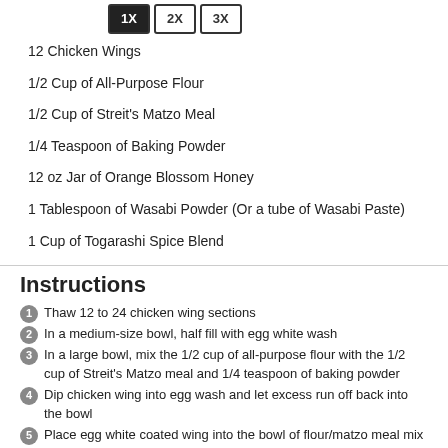[Figure (other): Three buttons labeled 1X (active/filled), 2X, 3X for recipe scaling]
12 Chicken Wings
1/2 Cup of All-Purpose Flour
1/2 Cup of Streit's Matzo Meal
1/4 Teaspoon of Baking Powder
12 oz Jar of Orange Blossom Honey
1 Tablespoon of Wasabi Powder (Or a tube of Wasabi Paste)
1 Cup of Togarashi Spice Blend
Instructions
Thaw 12 to 24 chicken wing sections
In a medium-size bowl, half fill with egg white wash
In a large bowl, mix the 1/2 cup of all-purpose flour with the 1/2 cup of Streit's Matzo meal and 1/4 teaspoon of baking powder
Dip chicken wing into egg wash and let excess run off back into the bowl
Place egg white coated wing into the bowl of flour/matzo meal mix